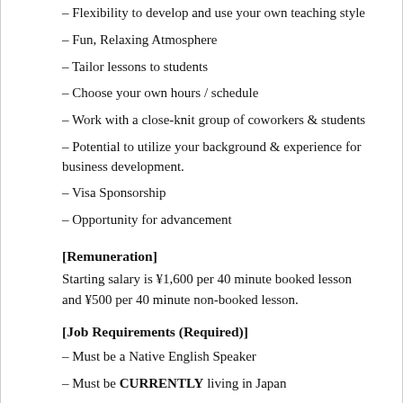– Flexibility to develop and use your own teaching style
– Fun, Relaxing Atmosphere
– Tailor lessons to students
– Choose your own hours / schedule
– Work with a close-knit group of coworkers & students
– Potential to utilize your background & experience for business development.
– Visa Sponsorship
– Opportunity for advancement
[Remuneration]
Starting salary is ¥1,600 per 40 minute booked lesson and ¥500 per 40 minute non-booked lesson.
[Job Requirements (Required)]
– Must be a Native English Speaker
– Must be CURRENTLY living in Japan
– Must be able to type and use a basic computer program such as a word processor
Job Requirements (Desired, but not required)